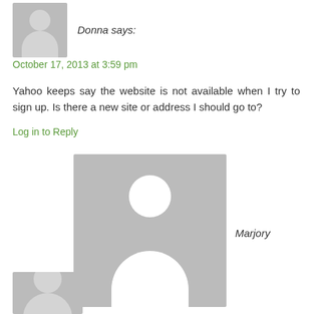[Figure (illustration): Small grey avatar placeholder image of a person silhouette]
Donna says:
October 17, 2013 at 3:59 pm
Yahoo keeps say the website is not available when I try to sign up. Is there a new site or address I should go to?
Log in to Reply
[Figure (illustration): Large grey avatar placeholder image of a person silhouette]
Marjory Wildcraft says:
October 17, 2013 at 8:26 pm
uh oh, let me check on that...
Log in to Reply
[Figure (illustration): Small grey avatar placeholder image partially visible at bottom]